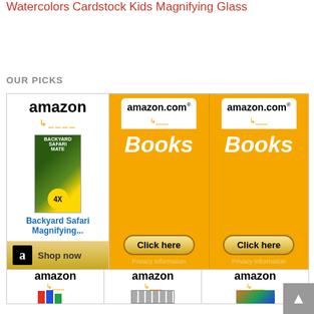Watercolors
Cardstock
Kids Magnifying Glass
OUR PICKS
[Figure (other): Amazon affiliate ad grid showing: left cell - Amazon logo with Backyard Safari Magnifying Glass product image and 'Shop now' bar; two orange Amazon.com Books cells with 'Click here' buttons and 'Privacy Information' text; bottom row with three Amazon logo product ads]
[Figure (other): Scroll-to-top button with upward arrow on right side]